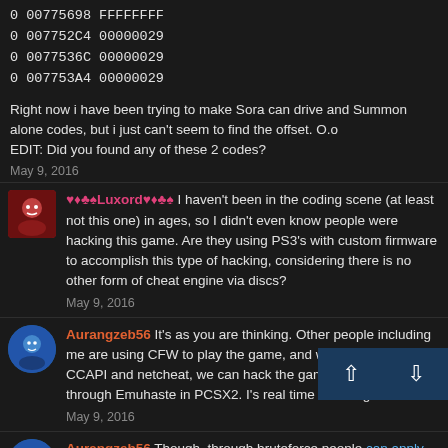0 00775698 FFFFFFFF
0 007752C4 00000029
0 0077536C 00000029
0 007753A4 00000029
Right now i have been trying to make Sora can drive and Summon alone codes, but i just can't seem to find the offset. O.o
EDIT: Did you found any of these 2 codes?
May 9, 2016
♥♦♣♠Luxord♥♦♣♠ I haven't been in the coding scene (at least not this one) in ages, so I didn't even know people were hacking this game. Are they using PS3's with custom firmware to accomplish this type of hacking, considering there is no other form of cheat engine via discs?
May 9, 2016
Aurangzeb56 It's as you are thinking. Other people including me are using CFW to play the game, and with the help of CCAPI and netcheat, we can hack the game as we used to through Emuhaste in PCSX2. I's real time modding.
May 9, 2016
Aurangzeb56 Though, through bruteforce people can apply codes without Custom firmware, but those code can only be applied on the Save and they are in completely different format